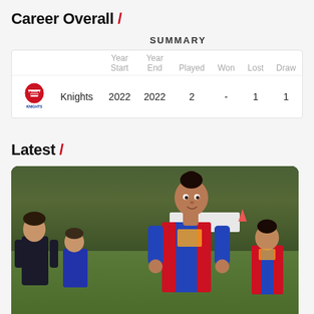Career Overall /
SUMMARY
|  |  | Year Start | Year End | Played | Won | Lost | Draw |
| --- | --- | --- | --- | --- | --- | --- | --- |
| [logo] | Knights | 2022 | 2022 | 2 | - | 1 | 1 |
Latest /
[Figure (photo): Women rugby league players in Knights blue and red jerseys on a field, with a central player in focus and others in background]